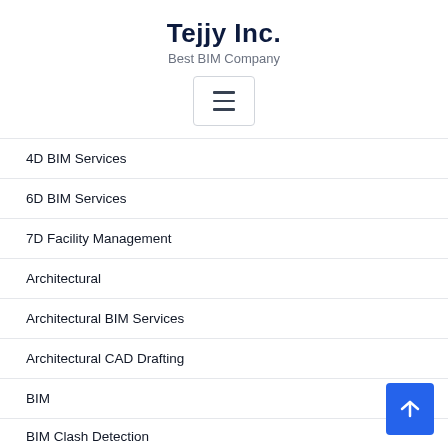Tejjy Inc.
Best BIM Company
[Figure (other): Hamburger menu button icon with three horizontal lines]
4D BIM Services
6D BIM Services
7D Facility Management
Architectural
Architectural BIM Services
Architectural CAD Drafting
BIM
BIM Clash Detection